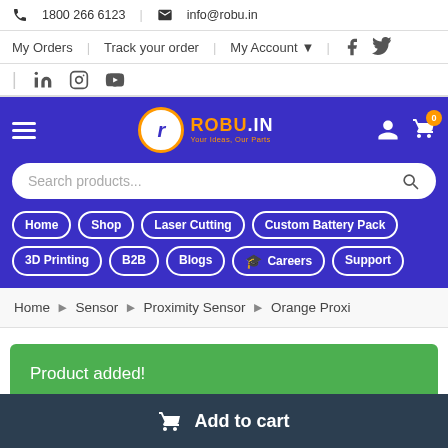📞 1800 266 6123  |  ✉ info@robu.in
My Orders | Track your order | My Account ▾ | Facebook | Twitter
LinkedIn | Instagram | YouTube
[Figure (screenshot): Robu.in navigation bar with hamburger menu, logo, user and cart icons, search bar, and navigation pills: Home, Shop, Laser Cutting, Custom Battery Pack, 3D Printing, B2B, Blogs, Careers, Support]
Home › Sensor › Proximity Sensor › Orange Proxi
Product added!
Add to cart